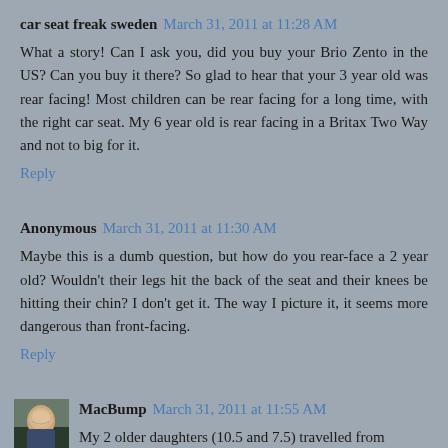car seat freak sweden March 31, 2011 at 11:28 AM
What a story! Can I ask you, did you buy your Brio Zento in the US? Can you buy it there? So glad to hear that your 3 year old was rear facing! Most children can be rear facing for a long time, with the right car seat. My 6 year old is rear facing in a Britax Two Way and not to big for it.
Reply
Anonymous March 31, 2011 at 11:30 AM
Maybe this is a dumb question, but how do you rear-face a 2 year old? Wouldn't their legs hit the back of the seat and their knees be hitting their chin? I don't get it. The way I picture it, it seems more dangerous than front-facing.
Reply
MacBump March 31, 2011 at 11:55 AM
My 2 older daughters (10.5 and 7.5) travelled from